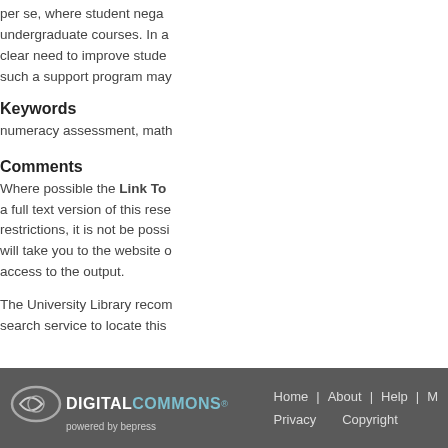per se, where student nega undergraduate courses. In a clear need to improve stude such a support program may
Keywords
numeracy assessment, math
Comments
Where possible the Link To a full text version of this rese restrictions, it is not be possi will take you to the website o access to the output.
The University Library recom search service to locate this
Home | About | Help | M Privacy Copyright